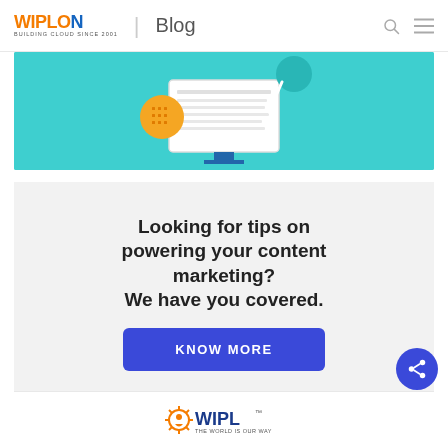WIPLON | Blog
[Figure (illustration): Illustration of a computer monitor displaying a document/content page with a teal/cyan background, pencil, and circular icons representing content marketing]
Looking for tips on powering your content marketing? We have you covered.
KNOW MORE
[Figure (logo): WIPL logo - The World Is Our Way, with orange star/person icon and blue text]
[Figure (other): Blue circular share button with share icon]